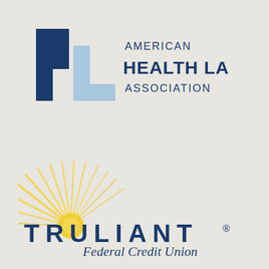[Figure (logo): American Health Law Association logo with stylized HL lettermark in dark blue and light blue, and text AMERICAN HEALTH LAW ASSOCIATION in dark navy blue]
[Figure (logo): Truliant Federal Credit Union logo with sunburst rays in yellow/gold and text TRULIANT in large dark navy blue spaced letters with registered trademark symbol, and Federal Credit Union in italic dark blue below]